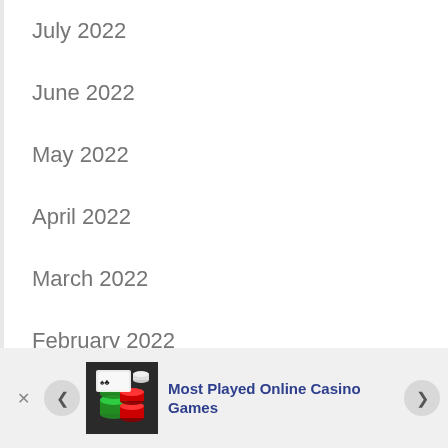July 2022
June 2022
May 2022
April 2022
March 2022
February 2022
January 2022
December 2021
[Figure (photo): Casino chips in green, red, and black/white stacked together]
Most Played Online Casino Games